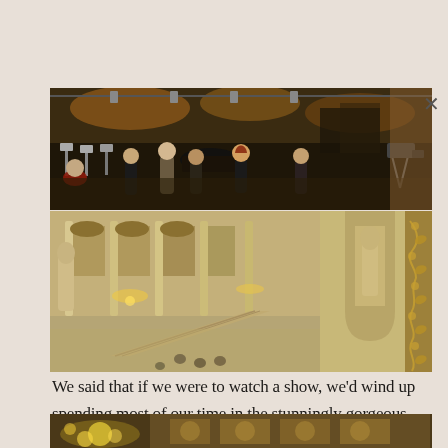[Figure (photo): Interior photo of a theater stage/rehearsal space with people, music stands, lighting equipment, and stage rigging visible in dim warm light.]
[Figure (photo): Interior photo of an ornate opera house foyer/lobby with marble columns, arched galleries, chandeliers, statues, and golden decorative wall details.]
We said that if we were to watch a show, we'd wind up spending most of our time in the stunningly gorgeous intermission hall.
[Figure (photo): Interior photo of an ornate gilded ceiling with chandeliers and painted decorations.]